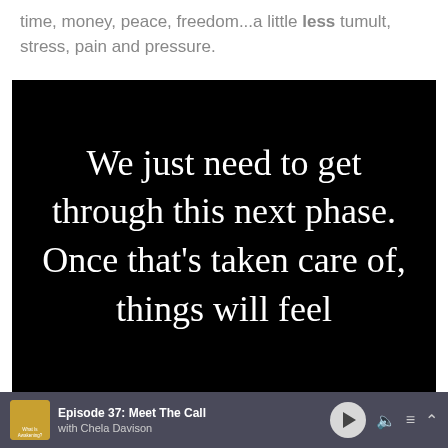time, money, peace, freedom...a little less tumult, stress, pain and pressure.
[Figure (illustration): Black background image with white serif text reading: 'We just need to get through this next phase. Once that's taken care of, things will feel']
Episode 37: Meet The Call with Chela Davison